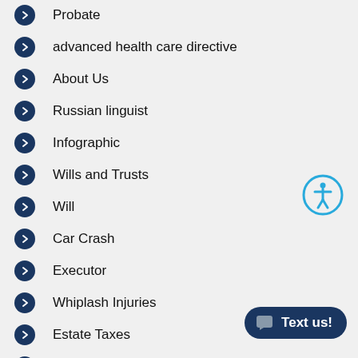Probate
advanced health care directive
About Us
Russian linguist
Infographic
Wills and Trusts
Will
Car Crash
Executor
Whiplash Injuries
Estate Taxes